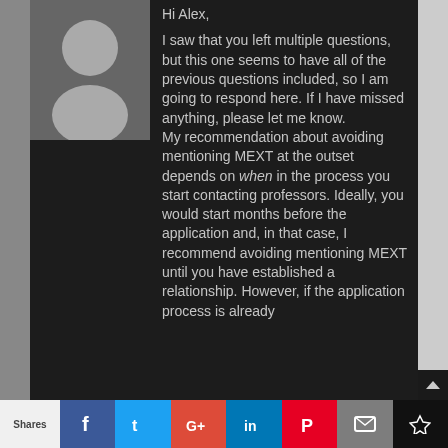[Figure (illustration): Generic user avatar silhouette on grey background]
Hi Alex,

I saw that you left multiple questions, but this one seems to have all of the previous questions included, so I am going to respond here. If I have missed anything, please let me know.
My recommendation about avoiding mentioning MEXT at the outset depends on when in the process you start contacting professors. Ideally, you would start months before the application and, in that case, I recommend avoiding mentioning MEXT until you have established a relationship. However, if the application process is already...
Shares | f | t | G+ | in | P | mail | crown